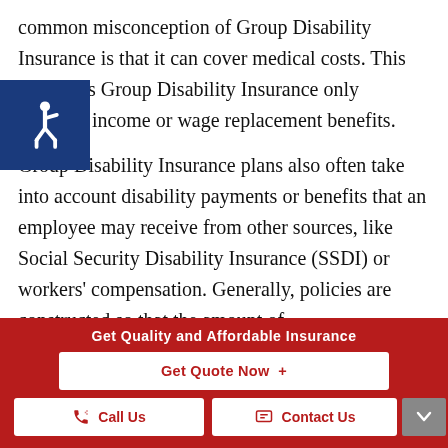common misconception of Group Disability Insurance is that it can cover medical costs. This untrue, as Group Disability Insurance only provides income or wage replacement benefits.
Group Disability Insurance plans also often take into account disability payments or benefits that an employee may receive from other sources, like Social Security Disability Insurance (SSDI) or workers' compensation. Generally, policies are constructed so that the amount of
Get Quality and Affordable Insurance
Get Quote Now  +
Call Us
Contact Us